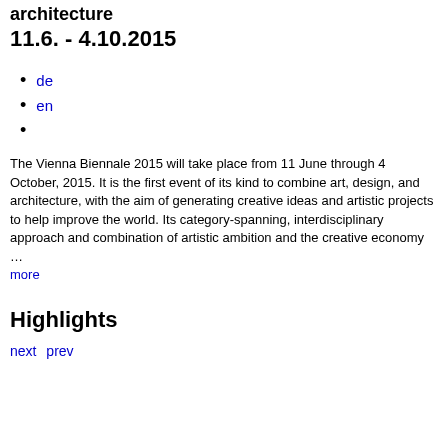11.6. - 4.10.2015
de
en
The Vienna Biennale 2015 will take place from 11 June through 4 October, 2015. It is the first event of its kind to combine art, design, and architecture, with the aim of generating creative ideas and artistic projects to help improve the world. Its category-spanning, interdisciplinary approach and combination of artistic ambition and the creative economy … more
Highlights
next prev